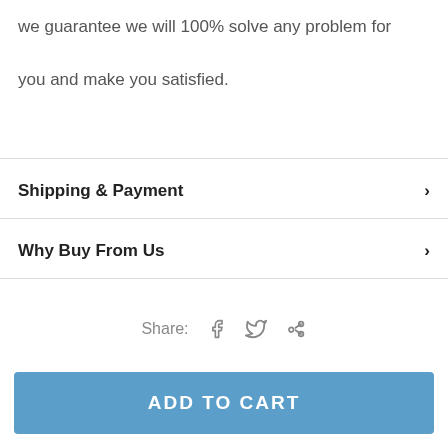we guarantee we will 100% solve any problem for you and make you satisfied.
Shipping & Payment
Why Buy From Us
Share:
REVIEWS
ADD TO CART